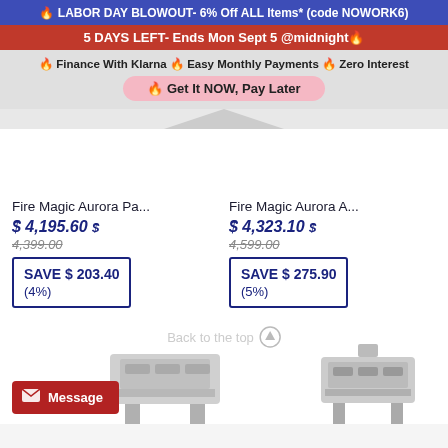🔥 LABOR DAY BLOWOUT- 6% Off ALL Items* (code NOWORK6)
5 DAYS LEFT- Ends Mon Sept 5 @midnight🔥
🔥 Finance With Klarna 🔥 Easy Monthly Payments 🔥 Zero Interest
🔥 Get It NOW, Pay Later
Fire Magic Aurora Pa...  $ 4,195.60 $  4,399.00  SAVE $ 203.40  (4%)
Fire Magic Aurora A...  $ 4,323.10 $  4,599.00  SAVE $ 275.90  (5%)
[Figure (photo): Two Fire Magic Aurora grills shown at bottom of page]
Back to the top ↑
Message